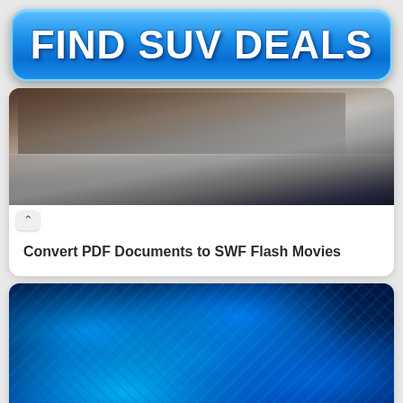[Figure (illustration): Blue gradient button/banner with bold white text reading FIND SUV DEALS]
[Figure (photo): Close-up photo of hands typing on a laptop keyboard, dark and light tones]
Convert PDF Documents to SWF Flash Movies
[Figure (photo): Close-up abstract blue glassy sculptural forms, highly detailed blue and dark navy tones]